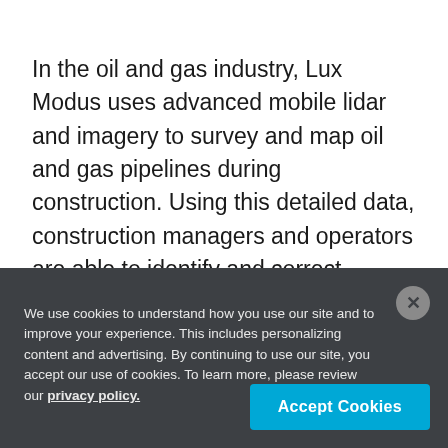In the oil and gas industry, Lux Modus uses advanced mobile lidar and imagery to survey and map oil and gas pipelines during construction. Using this detailed data, construction managers and operators are able to identify and correct construction issues, saving time and reducing costs, as well as support long-term integrity and quality assurance.
We use cookies to understand how you use our site and to improve your experience. This includes personalizing content and advertising. By continuing to use our site, you accept our use of cookies. To learn more, please review our privacy policy.